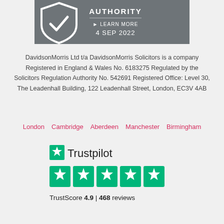[Figure (logo): SRA Regulated by Solicitors Regulation Authority badge with shield logo, LEARN MORE link, and date 4 SEP 2022, on dark grey background]
DavidsonMorris Ltd t/a DavidsonMorris Solicitors is a company Registered in England & Wales No. 6183275 Regulated by the Solicitors Regulation Authority No. 542691 Registered Office: Level 30, The Leadenhall Building, 122 Leadenhall Street, London, EC3V 4AB
London   Cambridge   Aberdeen   Manchester   Birmingham
[Figure (logo): Trustpilot logo with green star icon and 5 green star rating boxes showing TrustScore 4.9 | 468 reviews]